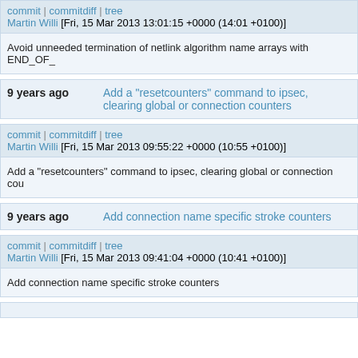commit | commitdiff | tree
Martin Willi [Fri, 15 Mar 2013 13:01:15 +0000 (14:01 +0100)]
Avoid unneeded termination of netlink algorithm name arrays with END_OF_
9 years ago   Add a "resetcounters" command to ipsec, clearing global or connection counters
commit | commitdiff | tree
Martin Willi [Fri, 15 Mar 2013 09:55:22 +0000 (10:55 +0100)]
Add a "resetcounters" command to ipsec, clearing global or connection cou
9 years ago   Add connection name specific stroke counters
commit | commitdiff | tree
Martin Willi [Fri, 15 Mar 2013 09:41:04 +0000 (10:41 +0100)]
Add connection name specific stroke counters